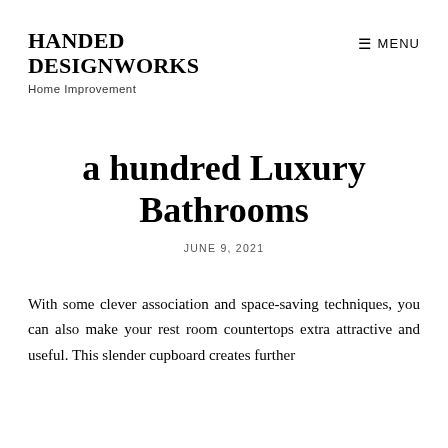HANDED DESIGNWORKS
Home Improvement
a hundred Luxury Bathrooms
JUNE 9, 2021
With some clever association and space-saving techniques, you can also make your rest room countertops extra attractive and useful. This slender cupboard creates further